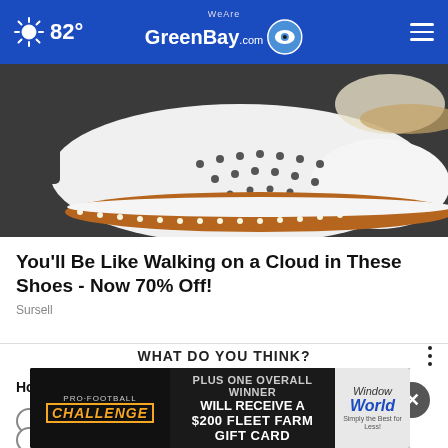82° | WeAreGreenBay.com
[Figure (photo): Close-up photo of a white perforated sneaker/shoe with tan/brown cork-like sole on a dark background]
You'll Be Like Walking on a Cloud in These Shoes - Now 70% Off!
Sursell
WHAT DO YOU THINK?
How often do other people mispronounce your first name?
Very often
[Figure (screenshot): Banner advertisement: Pro Football Challenge - PLUS ONE OVERALL WINNER WILL RECEIVE A $200 FLEET FARM GIFT CARD - Window World]